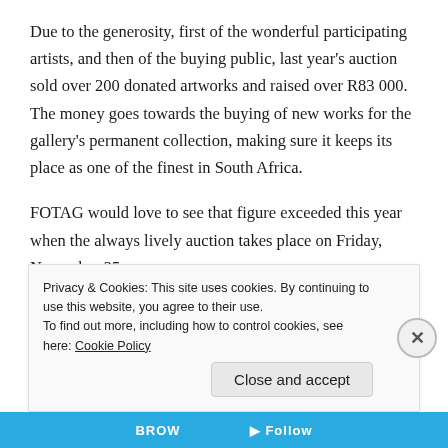Due to the generosity, first of the wonderful participating artists, and then of the buying public, last year's auction sold over 200 donated artworks and raised over R83 000. The money goes towards the buying of new works for the gallery's permanent collection, making sure it keeps its place as one of the finest in South Africa.
FOTAG would love to see that figure exceeded this year when the always lively auction takes place on Friday, November 25.
Privacy & Cookies: This site uses cookies. By continuing to use this website, you agree to their use.
To find out more, including how to control cookies, see here: Cookie Policy
Close and accept